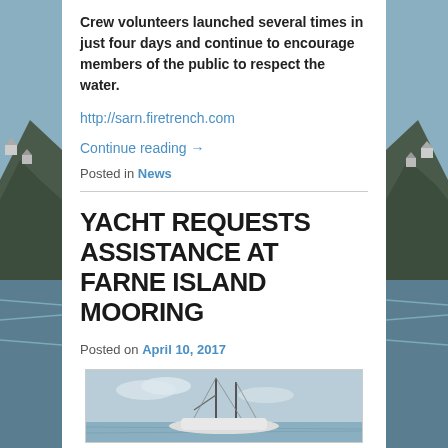Crew volunteers launched several times in just four days and continue to encourage members of the public to respect the water.
http://sarn.firetrench.com
Continue reading →
Posted in News
YACHT REQUESTS ASSISTANCE AT FARNE ISLAND MOORING
Posted on April 10, 2017
[Figure (photo): Photograph of a yacht at a mooring, with masts visible against a cloudy sky]